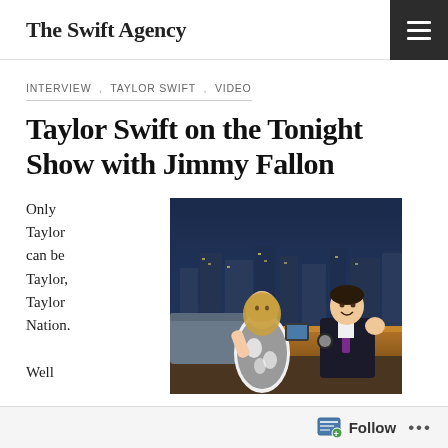The Swift Agency
INTERVIEW , TAYLOR SWIFT , VIDEO
Taylor Swift on the Tonight Show with Jimmy Fallon
Only Taylor can be Taylor, Taylor Nation.

Well
[Figure (photo): Photo of Taylor Swift sitting with Jimmy Fallon on the Tonight Show set, with a city skyline backdrop. Taylor is wearing a black and white patterned dress and Jimmy is in a dark suit with a purple tie.]
Follow ...